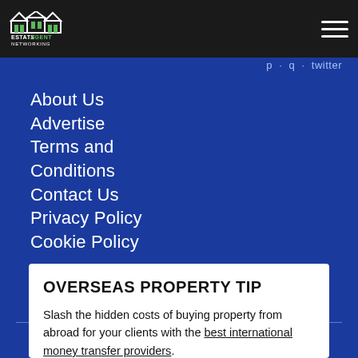Estate Agent Networking
About Us
Advertise
Terms and Conditions
Contact Us
Privacy Policy
Cookie Policy
OVERSEAS PROPERTY TIP
Slash the hidden costs of buying property from abroad for your clients with the best international money transfer providers.